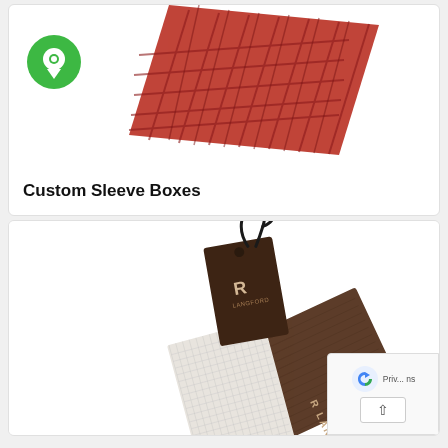[Figure (photo): Custom sleeve box with dark red/maroon geometric pattern, partially unfolded, shown at an angle on white background. Green chat bubble icon overlay in top-left corner.]
Custom Sleeve Boxes
[Figure (photo): Custom hang tags: a dark brown rectangular tag with 'R' logo and black cord/string loop, a white textured tag attached, and a dark brown envelope/folder with 'R LANGFORD' branding text. reCAPTCHA widget and scroll-to-top button overlay in bottom-right corner.]